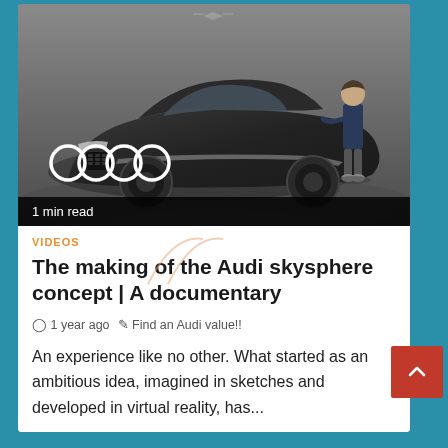[Figure (photo): Audi skysphere concept car in dark studio with a person standing next to it. Audi four-rings logo visible in lower left. Black bar at bottom reads '1 min read'.]
1 min read
VIDEOS
The making of the Audi skysphere concept | A documentary
1 year ago   Find an Audi value!!
An experience like no other. What started as an ambitious idea, imagined in sketches and developed in virtual reality, has...